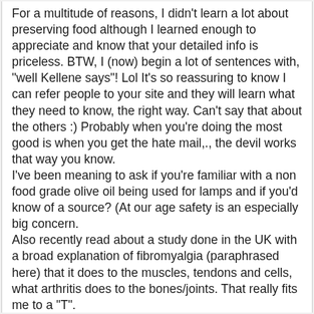For a multitude of reasons, I didn't learn a lot about preserving food although I learned enough to appreciate and know that your detailed info is priceless. BTW, I (now) begin a lot of sentences with, "well Kellene says"! Lol It's so reassuring to know I can refer people to your site and they will learn what they need to know, the right way. Can't say that about the others :) Probably when you're doing the most good is when you get the hate mail,., the devil works that way you know.
I've been meaning to ask if you're familiar with a non food grade olive oil being used for lamps and if you'd know of a source? (At our age safety is an especially big concern.
Also recently read about a study done in the UK with a broad explanation of fibromyalgia (paraphrased here) that it does to the muscles, tendons and cells, what arthritis does to the bones/joints. That really fits me to a "T".
Many thanks from someone who 4 years ago just knew